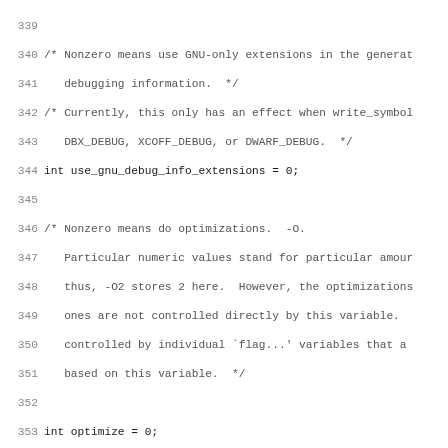Source code listing lines 339-370, C code with comments about GNU debug extensions, optimization, optimize_size, exit_after_options, current_function_decl, and FUNC_BEGIN label.